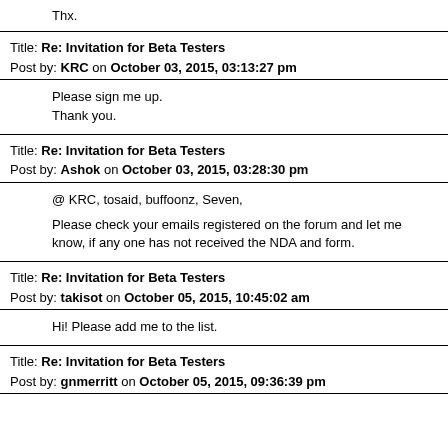Thx.
Title: Re: Invitation for Beta Testers
Post by: KRC on October 03, 2015, 03:13:27 pm
Please sign me up.
Thank you.
Title: Re: Invitation for Beta Testers
Post by: Ashok on October 03, 2015, 03:28:30 pm
@ KRC, tosaid, buffoonz, Seven,

Please check your emails registered on the forum and let me know, if any one has not received the NDA and form.
Title: Re: Invitation for Beta Testers
Post by: takisot on October 05, 2015, 10:45:02 am
Hi! Please add me to the list.
Title: Re: Invitation for Beta Testers
Post by: gnmerritt on October 05, 2015, 09:36:39 pm